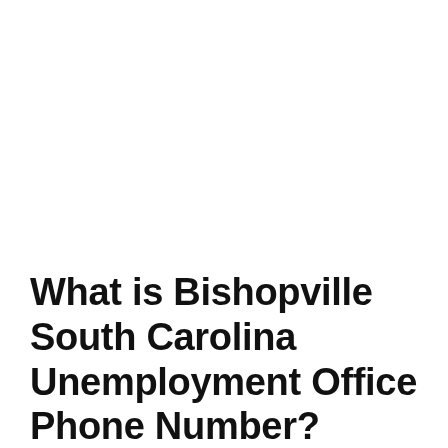What is Bishopville South Carolina Unemployment Office Phone Number?